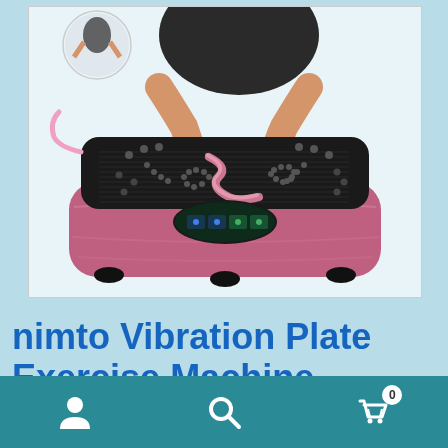[Figure (photo): Product photo of a pink/rose vibration plate exercise machine with black textured top surface, digital display panel, massage nodes, and pink resistance bands. A person's hands and torso are visible holding the machine.]
nimto Vibration Plate Exercise Machine Whole Body Workout
[Figure (screenshot): Mobile app bottom navigation bar with teal/dark cyan background containing three icons: person/account icon on left, search/magnifying glass icon in center, and shopping cart with badge showing '0' on right.]